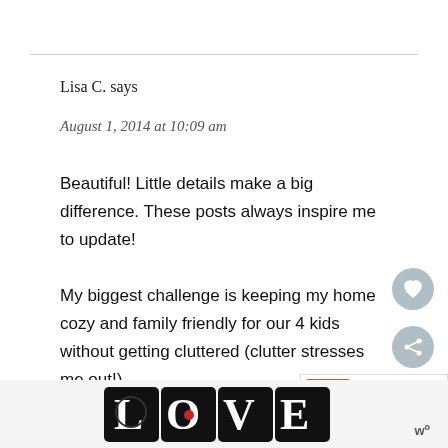Lisa C. says
August 1, 2014 at 10:09 am
Beautiful! Little details make a big difference. These posts always inspire me to update!
My biggest challenge is keeping my home cozy and family friendly for our 4 kids without getting cluttered (clutter stresses me out!).
[Figure (other): LOVE decorative art text with ornate patterns]
[Figure (other): What's Next widget showing Saturday thumbnail]
[Figure (other): Heart (like) button icon]
[Figure (other): Share button icon]